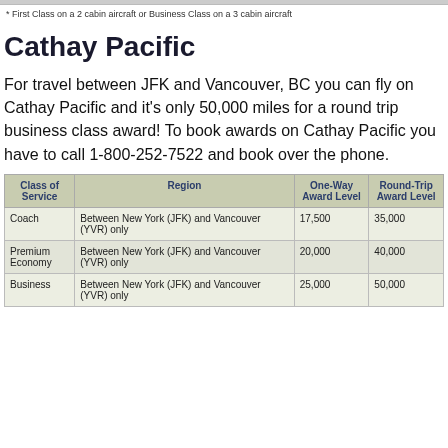* First Class on a 2 cabin aircraft or Business Class on a 3 cabin aircraft
Cathay Pacific
For travel between JFK and Vancouver, BC you can fly on Cathay Pacific and it's only 50,000 miles for a round trip business class award! To book awards on Cathay Pacific you have to call 1-800-252-7522 and book over the phone.
| Class of Service | Region | One-Way Award Level | Round-Trip Award Level |
| --- | --- | --- | --- |
| Coach | Between New York (JFK) and Vancouver (YVR) only | 17,500 | 35,000 |
| Premium Economy | Between New York (JFK) and Vancouver (YVR) only | 20,000 | 40,000 |
| Business | Between New York (JFK) and Vancouver (YVR) only | 25,000 | 50,000 |